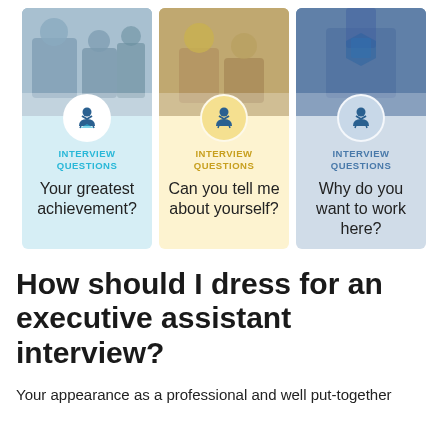[Figure (infographic): Three interview question cards side by side. Card 1 (light blue): 'INTERVIEW QUESTIONS - Your greatest achievement?' Card 2 (yellow): 'INTERVIEW QUESTIONS - Can you tell me about yourself?' Card 3 (light blue-gray): 'INTERVIEW QUESTIONS - Why do you want to work here?' Each card has a photo on top and a circular person icon.]
How should I dress for an executive assistant interview?
Your appearance as a professional and well put-together